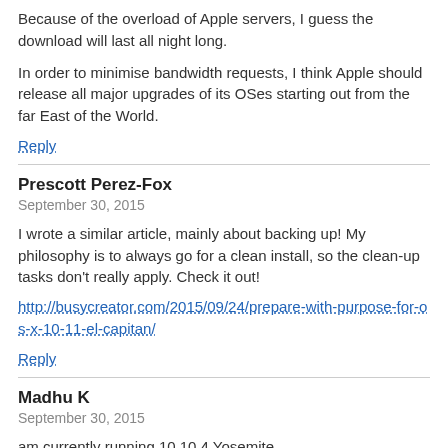Because of the overload of Apple servers, I guess the download will last all night long.
In order to minimise bandwidth requests, I think Apple should release all major upgrades of its OSes starting out from the far East of the World.
Reply
Prescott Perez-Fox
September 30, 2015
I wrote a similar article, mainly about backing up! My philosophy is to always go for a clean install, so the clean-up tasks don't really apply. Check it out!
http://busycreator.com/2015/09/24/prepare-with-purpose-for-os-x-10-11-el-capitan/
Reply
Madhu K
September 30, 2015
am currently running 10.10.4 Yosemite.
Even I have the same question as Rachel has